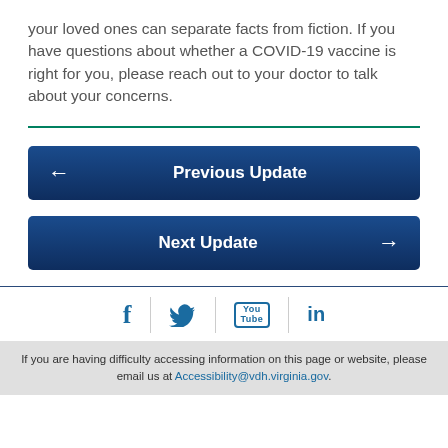your loved ones can separate facts from fiction. If you have questions about whether a COVID-19 vaccine is right for you, please reach out to your doctor to talk about your concerns.
[Figure (other): Teal/green horizontal divider line]
[Figure (other): Previous Update navigation button (dark blue with left arrow)]
[Figure (other): Next Update navigation button (dark blue with right arrow)]
[Figure (other): Social media icons bar: Facebook, Twitter, YouTube, LinkedIn]
If you are having difficulty accessing information on this page or website, please email us at Accessibility@vdh.virginia.gov.